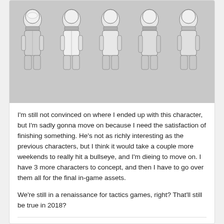[Figure (illustration): Character concept art sheet showing an elderly man with white hair, glasses, and a beard in various poses and outfit variations, rendered in grayscale line art style.]
I'm still not convinced on where I ended up with this character, but I'm sadly gonna move on because I need the satisfaction of finishing something. He's not as richly interesting as the previous characters, but I think it would take a couple more weekends to really hit a bullseye, and I'm dieing to move on. I have 3 more characters to concept, and then I have to go over them all for the final in-game assets.
We're still in a renaissance for tactics games, right? That'll still be true in 2018?
I_smell
Posted September 18, 2017